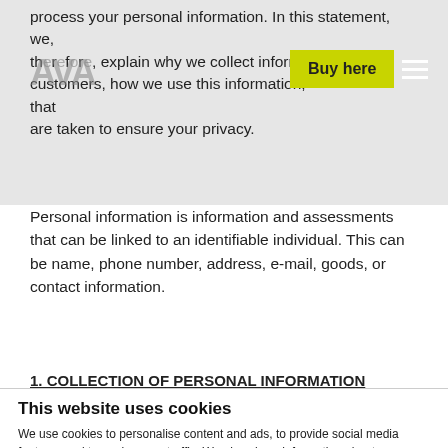process your personal information. In this statement, we, then, explain why we collect information about customers, how we use this information, and measures that are taken to ensure your privacy.
Personal information is information and assessments that can be linked to an identifiable individual. This can be name, phone number, address, e-mail, goods, or contact information.
1. COLLECTION OF PERSONAL INFORMATION
This website uses cookies
We use cookies to personalise content and ads, to provide social media features and to analyse our traffic. We also share information about your use of our site with our social media, advertising and analytics partners who may combine it with other information that you've provided to them or that they've collected from your use of their services.